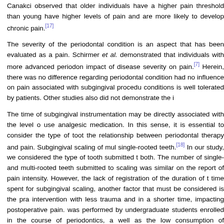Canakci observed that older individuals have a higher pain threshold than young have higher levels of pain and are more likely to develop chronic pain.[17]
The severity of the periodontal condition is an aspect that has been evaluated as a pain. Schirmer et al. demonstrated that individuals with more advanced periodont impact of disease severity on pain.[7] Herein, there was no difference regarding periodontal condition had no influence on pain associated with subgingival procedu conditions is well tolerated by patients. Other studies also did not demonstrate the i
The time of subgingival instrumentation may be directly associated with the level o use analgesic medication. In this sense, it is essential to consider the type of toot the relationship between periodontal therapy and pain. Subgingival scaling of mul single-rooted teeth.[18] In our study, we considered the type of tooth submitted t both. The number of single- and multi-rooted teeth submitted to scaling was similar on the report of pain intensity. However, the lack of registration of the duration of t time spent for subgingival scaling, another factor that must be considered is the pra intervention with less trauma and in a shorter time, impacting postoperative pain. was performed by undergraduate students enrolled in the course of periodontics, a well as the low consumption of analgesics after therapy. Therefore, for more skille and need for analgesics after nonsurgical periodontal therapy are expected.
There is evidence that anxiety has a significant impact on the report of pain associa the level of pain reported by the patient should also evaluate anxiety before the pro